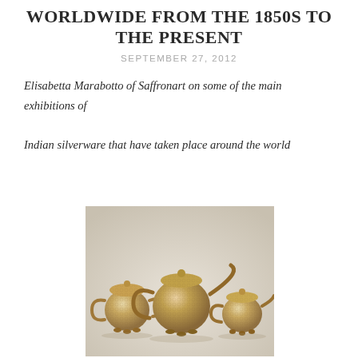WORLDWIDE FROM THE 1850S TO THE PRESENT
SEPTEMBER 27, 2012
Elisabetta Marabotto of Saffronart on some of the main exhibitions of Indian silverware that have taken place around the world
[Figure (photo): Three ornate Indian silver teapots/tea set pieces with intricate repoussé floral decoration, photographed against a light grey background. The pieces are round-bodied with decorative handles and lids with small finials.]